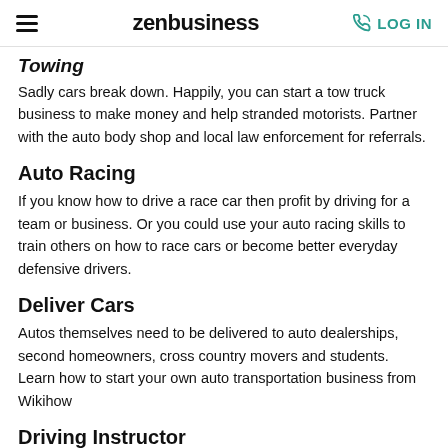zenbusiness LOG IN
Towing
Sadly cars break down. Happily, you can start a tow truck business to make money and help stranded motorists. Partner with the auto body shop and local law enforcement for referrals.
Auto Racing
If you know how to drive a race car then profit by driving for a team or business. Or you could use your auto racing skills to train others on how to race cars or become better everyday defensive drivers.
Deliver Cars
Autos themselves need to be delivered to auto dealerships, second homeowners, cross country movers and students.  Learn how to start your own auto transportation business from Wikihow
Driving Instructor